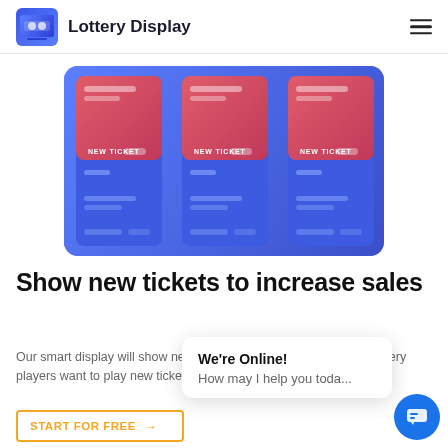Lottery Display
[Figure (screenshot): Screenshot of Lottery Display app interface showing three lottery ticket cards with pink/red gradient tops labeled 'NEW TICKET' and blue lower panels, arranged in a grid on a blue background]
Show new tickets to increase sales
Our smart display will show new tickets automatically. You know lottery players want to play new tickets as the chance to win...
We're Online! How may I help you toda...
START FOR FREE →